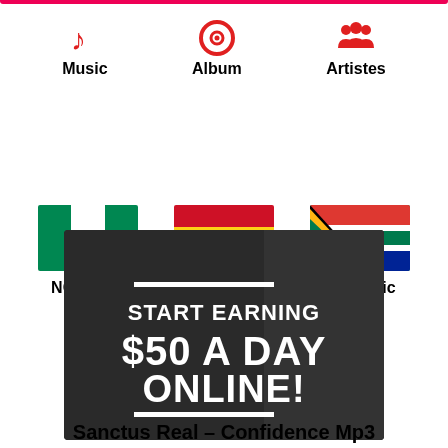[Figure (infographic): Navigation menu with three icons: Music (red music note), Album (red disc/record), Artistes (red people icon), with bold labels below each]
[Figure (infographic): Three country flag icons for Nigeria (NG Music), Ghana (GH Music), and South Africa (SA Music) with bold labels below]
[Figure (other): Advertisement banner with dark background showing text: START EARNING $50 A DAY ONLINE!]
Sanctus Real – Confidence Mp3